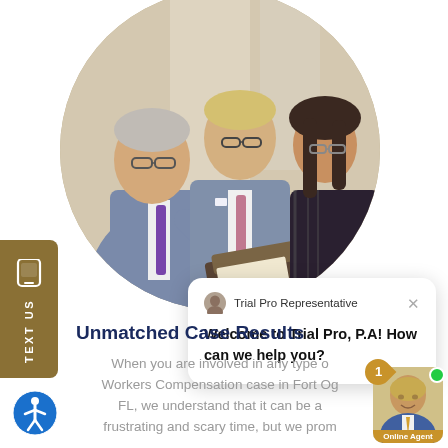[Figure (photo): Three legal professionals (two men and a woman) reviewing documents together in a circular-cropped photo]
[Figure (screenshot): Chat widget popup with Trial Pro Representative avatar and message: Welcome to Trial Pro, P.A! How can we help you?]
Unmatched Case Results
When you are involved in any type of Workers Compensation case in Fort Og... FL, we understand that it can be a frustrating and scary time, but we prom...
[Figure (other): Accessibility icon (person in circle) bottom left]
[Figure (other): Online Agent bubble with agent photo, green online dot, notification badge showing 1, and Online Agent label]